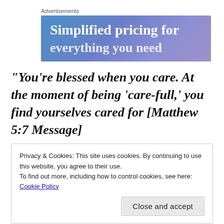[Figure (other): Advertisement banner with blue-purple gradient background and white bold text reading 'Simplified pricing for']
“You’re blessed when you care. At the moment of being ‘care-full,’ you find yourselves cared for [Matthew 5:7 Message]
Privacy & Cookies: This site uses cookies. By continuing to use this website, you agree to their use.
To find out more, including how to control cookies, see here: Cookie Policy